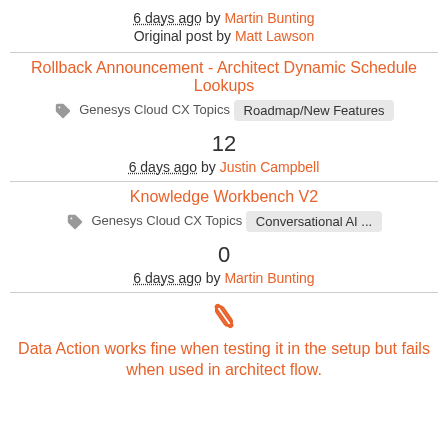6 days ago by Martin Bunting
Original post by Matt Lawson
Rollback Announcement - Architect Dynamic Schedule Lookups
Genesys Cloud CX Topics  Roadmap/New Features
12
6 days ago by Justin Campbell
Knowledge Workbench V2
Genesys Cloud CX Topics  Conversational AI ...
0
6 days ago by Martin Bunting
Data Action works fine when testing it in the setup but fails when used in architect flow.